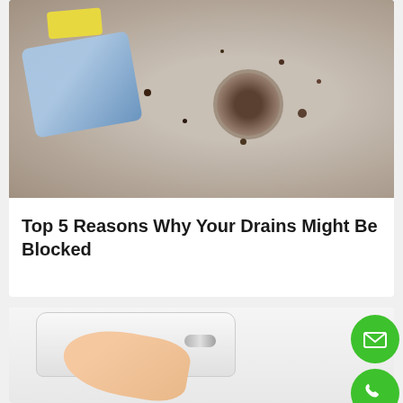[Figure (photo): Close-up photo of a dirty kitchen sink with a clogged drain strainer, food debris scattered around the stainless steel basin, a blue striped cloth and yellow sponge visible]
Top 5 Reasons Why Your Drains Might Be Blocked
[Figure (photo): A hand reaching to flush a white toilet tank by pressing the handle lever]
[Figure (other): Green circular email contact button with envelope icon]
[Figure (other): Green circular phone contact button with telephone icon]